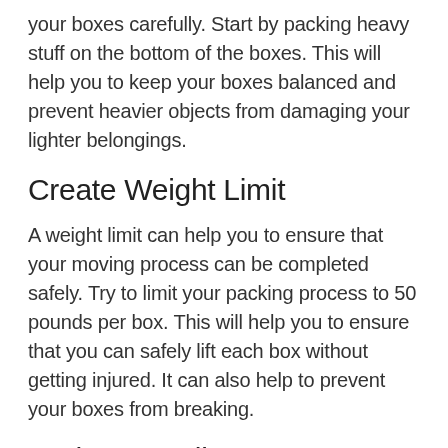your boxes carefully. Start by packing heavy stuff on the bottom of the boxes. This will help you to keep your boxes balanced and prevent heavier objects from damaging your lighter belongings.
Create Weight Limit
A weight limit can help you to ensure that your moving process can be completed safely. Try to limit your packing process to 50 pounds per box. This will help you to ensure that you can safely lift each box without getting injured. It can also help to prevent your boxes from breaking.
Gather Supplies